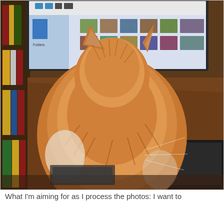[Figure (photo): A fluffy orange/ginger long-haired cat viewed from behind, sitting on a desk in front of a computer monitor displaying what appears to be a photo editing or file browser application. Bookshelves are visible on the left side.]
What I'm aiming for as I process the photos: I want to …